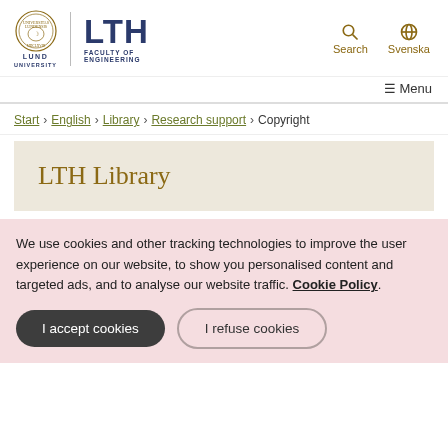LTH Faculty of Engineering - Lund University | Search | Svenska | Menu
Start › English › Library › Research support › Copyright
LTH Library
We use cookies and other tracking technologies to improve the user experience on our website, to show you personalised content and targeted ads, and to analyse our website traffic. Cookie Policy.
I accept cookies | I refuse cookies